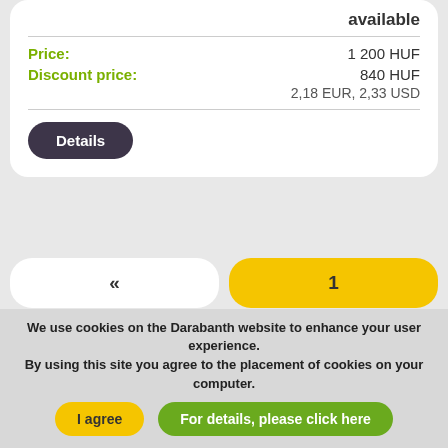available
Price: 1 200 HUF
Discount price: 840 HUF
2,18 EUR, 2,33 USD
Details
«
1
2
3
13
25
We use cookies on the Darabanth website to enhance your user experience. By using this site you agree to the placement of cookies on your computer.
I agree
For details, please click here